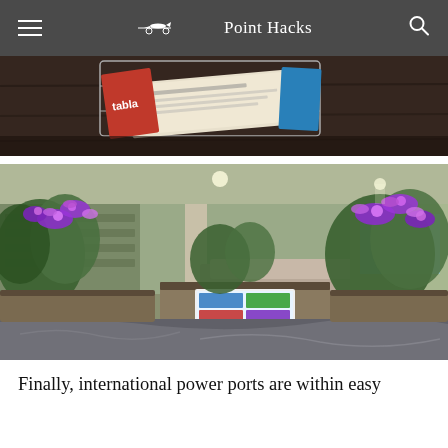Point Hacks
[Figure (photo): A newspaper/magazine rack with folded newspaper and magazines on a dark wooden surface, showing 'tabla' magazine cover]
[Figure (photo): Interior of an airport lounge showing purple orchid flower arrangements, green plants, a reception/concierge desk with illuminated magazine display, and marble flooring]
Finally, international power ports are within easy